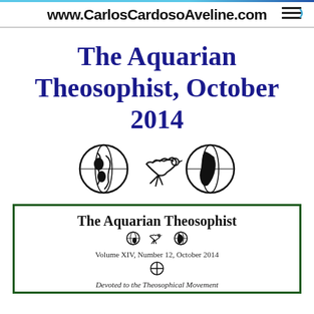www.CarlosCardosoAveline.com
The Aquarian Theosophist, October 2014
[Figure (illustration): Three circular icons: globe showing Americas, dove/bird silhouette, globe showing Africa/Europe — black and white line art]
[Figure (illustration): Cover of The Aquarian Theosophist journal inside a dark green border. Contains title 'The Aquarian Theosophist', small globe/dove icons, text 'Volume XIV, Number 12, October 2014', a cross/circle symbol, and partial subtitle text below.]